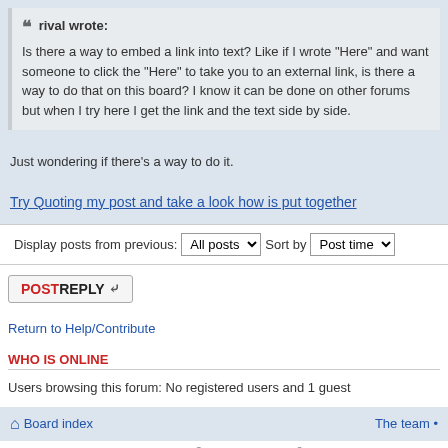rival wrote: Is there a way to embed a link into text? Like if I wrote "Here" and want someone to click the "Here" to take you to an external link, is there a way to do that on this board? I know it can be done on other forums but when I try here I get the link and the text side by side.
Just wondering if there's a way to do it.
Try Quoting my post and take a look how is put together
Display posts from previous: All posts   Sort by Post time
POSTREPLY
Return to Help/Contribute
WHO IS ONLINE
Users browsing this forum: No registered users and 1 guest
Board index   The team •
Powered by phpBB® Forum Software © phpBB Gr